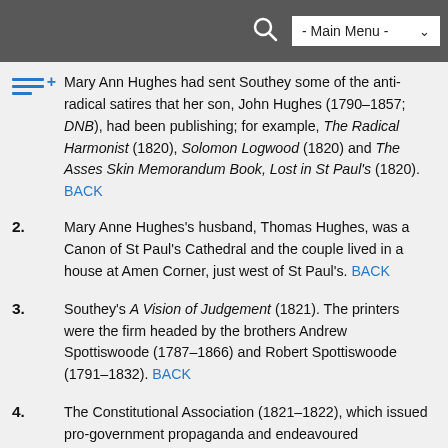- Main Menu -
Mary Ann Hughes had sent Southey some of the anti-radical satires that her son, John Hughes (1790–1857; DNB), had been publishing; for example, The Radical Harmonist (1820), Solomon Logwood (1820) and The Asses Skin Memorandum Book, Lost in St Paul's (1820). BACK
2. Mary Anne Hughes's husband, Thomas Hughes, was a Canon of St Paul's Cathedral and the couple lived in a house at Amen Corner, just west of St Paul's. BACK
3. Southey's A Vision of Judgement (1821). The printers were the firm headed by the brothers Andrew Spottiswoode (1787–1866) and Robert Spottiswoode (1791–1832). BACK
4. The Constitutional Association (1821–1822), which issued pro-government propaganda and endeavoured